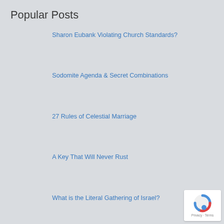Popular Posts
Sharon Eubank Violating Church Standards?
Sodomite Agenda & Secret Combinations
27 Rules of Celestial Marriage
A Key That Will Never Rust
What is the Literal Gathering of Israel?